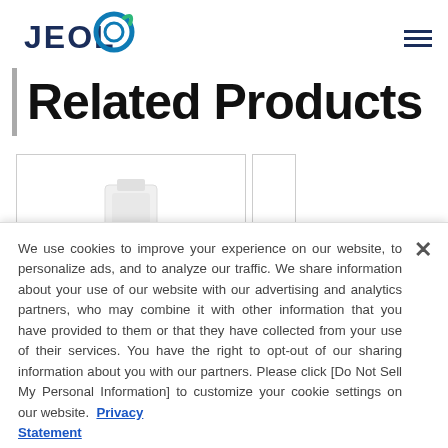JEOL [logo] [hamburger menu]
Related Products
[Figure (photo): Product image card showing a white instrument/device, partially visible second card to the right]
We use cookies to improve your experience on our website, to personalize ads, and to analyze our traffic. We share information about your use of our website with our advertising and analytics partners, who may combine it with other information that you have provided to them or that they have collected from your use of their services. You have the right to opt-out of our sharing information about you with our partners. Please click [Do Not Sell My Personal Information] to customize your cookie settings on our website. Privacy Statement